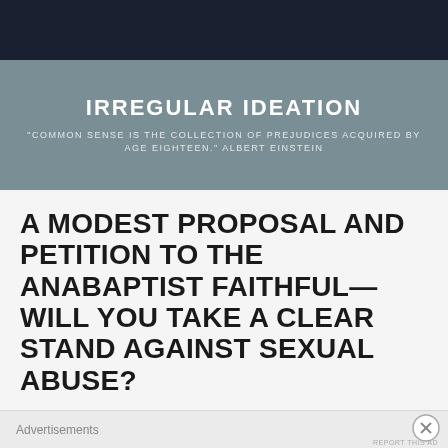[Figure (photo): Dark photo banner at top of blog page]
IRREGULAR IDEATION
"COMMON SENSE IS THE COLLECTION OF PREJUDICES ACQUIRED BY AGE EIGHTEEN." ALBERT EINSTEIN
A MODEST PROPOSAL AND PETITION TO THE ANABAPTIST FAITHFUL—WILL YOU TAKE A CLEAR STAND AGAINST SEXUAL ABUSE?
Advertisements